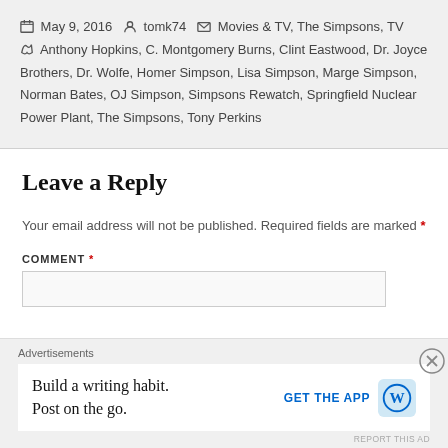May 9, 2016 | tomk74 | Movies & TV, The Simpsons, TV | Anthony Hopkins, C. Montgomery Burns, Clint Eastwood, Dr. Joyce Brothers, Dr. Wolfe, Homer Simpson, Lisa Simpson, Marge Simpson, Norman Bates, OJ Simpson, Simpsons Rewatch, Springfield Nuclear Power Plant, The Simpsons, Tony Perkins
Leave a Reply
Your email address will not be published. Required fields are marked *
COMMENT *
Advertisements
Build a writing habit. Post on the go.
GET THE APP